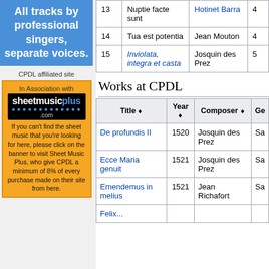[Figure (illustration): Blue banner advertisement: 'All tracks by professional singers, separate voices.']
CPDL affiliated site
[Figure (illustration): Sheet Music Plus advertisement banner with orange background. 'In Association with sheetmusicplus.com'. Text: If you can't find the sheet music that you're looking for here, please click on the banner to visit Sheet Music Plus, who give CPDL a minimum of 8% of every purchase made on their site from here.]
| # | Title | Composer | Voices |
| --- | --- | --- | --- |
| 13 | Nuptie facte sunt | Hotinet Barra | 4 |
| 14 | Tua est potentia | Jean Mouton | 4 |
| 15 | Inviolata, integra et casta | Josquin des Prez | 5 |
Works at CPDL
| Title | Year | Composer | Ge... |
| --- | --- | --- | --- |
| De profundis II | 1520 | Josquin des Prez | Sa... |
| Ecce Maria genuit | 1521 | Josquin des Prez | Sa... |
| Emendemus in melius | 1521 | Jean Richafort | Sa... |
| Felix... |  |  |  |